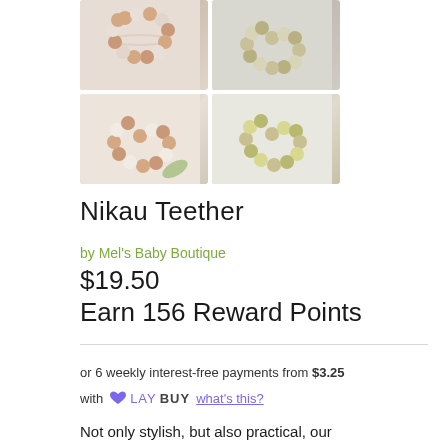[Figure (photo): Grid of four product photos showing baby teether rings made of wooden and silicone beads arranged in a circle, on white/marble backgrounds with decorative ferns.]
Nikau Teether
by Mel's Baby Boutique
$19.50
Earn 156 Reward Points
or 6 weekly interest-free payments from $3.25 with LAYBUY what's this?
Not only stylish, but also practical, our